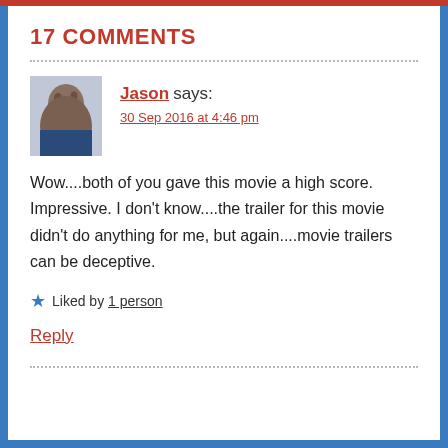17 COMMENTS
Jason says:
30 Sep 2016 at 4:46 pm
Wow....both of you gave this movie a high score. Impressive. I don't know....the trailer for this movie didn't do anything for me, but again....movie trailers can be deceptive.
★ Liked by 1 person
Reply